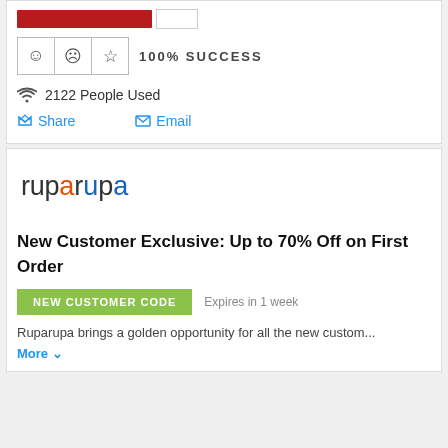[Figure (other): Red progress/coupon bar with a gray box next to it]
[Figure (other): Rating row with smiley face, frown face, and star icons in bordered cells, followed by '100% SUCCESS' text]
2122 People Used
Share   Email
[Figure (logo): Ruparupa logo in stylized text with orange 'a' and blue 'u' and 'a' characters]
New Customer Exclusive: Up to 70% Off on First Order
[Figure (other): Green badge labeled 'NEW CUSTOMER CODE' with 'Expires in 1 week' text beside it]
Ruparupa brings a golden opportunity for all the new custom...
More ∨